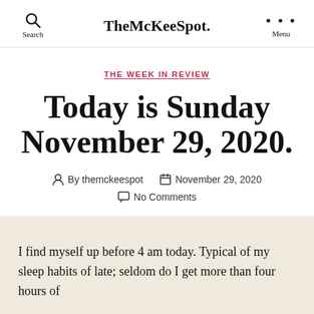TheMcKeeSpot.
THE WEEK IN REVIEW
Today is Sunday November 29, 2020.
By themckeespot   November 29, 2020   No Comments
I find myself up before 4 am today. Typical of my sleep habits of late; seldom do I get more than four hours of